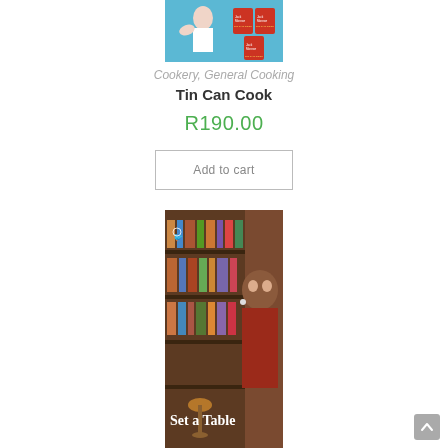[Figure (photo): Book cover of 'Tin Can Cook' by Jack Monroe showing a woman in a white shirt against a blue background with stacked red tins]
Cookery, General Cooking
Tin Can Cook
R190.00
Add to cart
[Figure (photo): Book cover of 'Set a Table' showing a person laughing in a warm-toned room with bookshelves in the background]